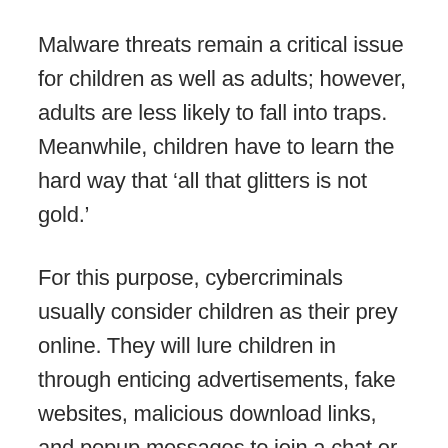Malware threats remain a critical issue for children as well as adults; however, adults are less likely to fall into traps. Meanwhile, children have to learn the hard way that ‘all that glitters is not gold.’
For this purpose, cybercriminals usually consider children as their prey online. They will lure children in through enticing advertisements, fake websites, malicious download links, and popup messages to join a chat or avail of a discount. As tempting as it sounds, it’s all a lie and a mere means to exploit your information.